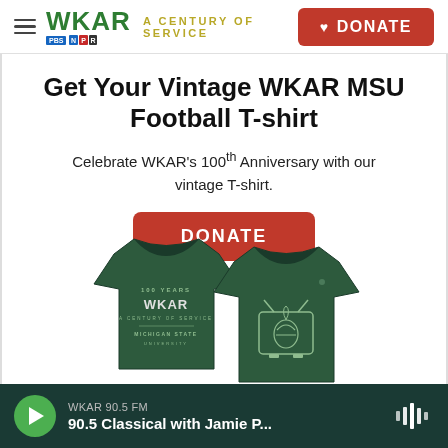WKAR A CENTURY OF SERVICE | DONATE
Get Your Vintage WKAR MSU Football T-shirt
Celebrate WKAR's 100th Anniversary with our vintage T-shirt.
[Figure (other): Red rounded-rectangle DONATE button]
[Figure (photo): Dark green WKAR MSU football t-shirts showing front and back, front has Spartan helmet on TV graphic, back has WKAR 100 Years and Michigan State University text]
WKAR 90.5 FM — 90.5 Classical with Jamie P...